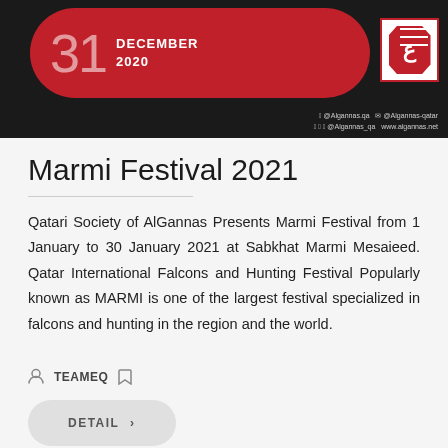[Figure (screenshot): Website header banner with red pill-shaped date badge showing '31 DECEMBER 2020', Arabic logo, hamburger menu, and social media handles]
Marmi Festival 2021
Qatari Society of AlGannas Presents Marmi Festival from 1 January to 30 January 2021 at Sabkhat Marmi Mesaieed. Qatar International Falcons and Hunting Festival Popularly known as MARMI is one of the largest festival specialized in falcons and hunting in the region and the world.
TEAMEQ
DETAIL ›